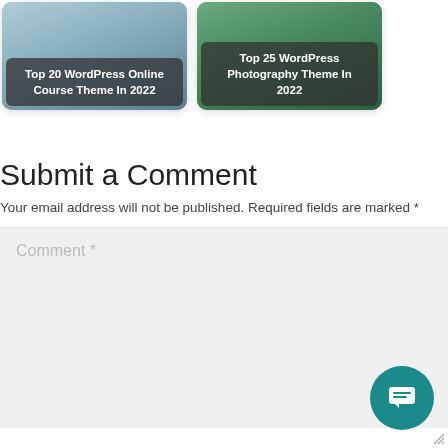[Figure (screenshot): Card thumbnail: Top 20 WordPress Online Course Theme In 2022]
[Figure (screenshot): Card thumbnail: Top 25 WordPress Photography Theme In 2022]
Submit a Comment
Your email address will not be published. Required fields are marked *
Comment *
[Figure (illustration): Teal chat/message floating action button in bottom right corner]